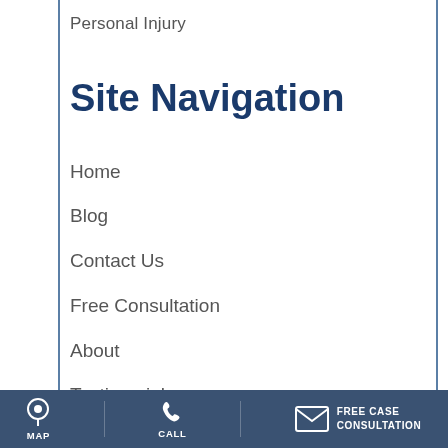Personal Injury
Site Navigation
Home
Blog
Contact Us
Free Consultation
About
Testimonials
Case Results
Locations
MAP  CALL  FREE CASE CONSULTATION